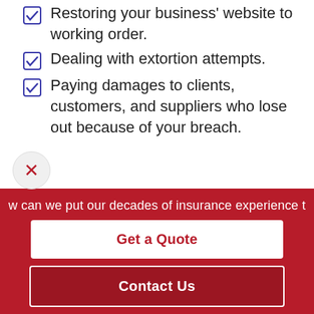Restoring your business' website to working order.
Dealing with extortion attempts.
Paying damages to clients, customers, and suppliers who lose out because of your breach.
All of these necessary action steps can lead to a hefty, unexpected cost for your business. Not to mention
w can we put our decades of insurance experience t
Get a Quote
Contact Us